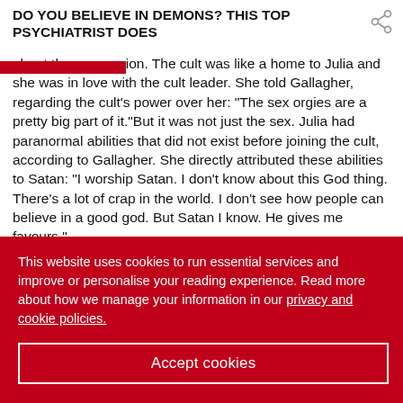DO YOU BELIEVE IN DEMONS? THIS TOP PSYCHIATRIST DOES
about the possession. The cult was like a home to Julia and she was in love with the cult leader. She told Gallagher, regarding the cult's power over her: “The sex orgies are a pretty big part of it.”But it was not just the sex. Julia had paranormal abilities that did not exist before joining the cult, according to Gallagher. She directly attributed these abilities to Satan: “I worship Satan. I don’t know about this God thing. There’s a lot of crap in the world. I don’t see how people can believe in a good god. But Satan I know. He gives me favours.”
Julia revelled in her psychic ability and demonstrated her powers for Gallagher. Once, at 3am, the Gallaghers’ normally placid cats went berserk fighting in the couple’s bedroom and had to be separated. Such behaviour had not happened before
This website uses cookies to run essential services and improve or personalise your reading experience. Read more about how we manage your information in our privacy and cookie policies.
Accept cookies